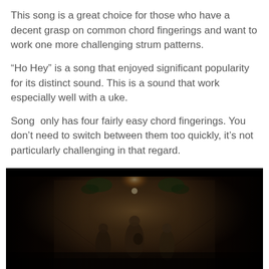This song is a great choice for those who have a decent grasp on common chord fingerings and want to work one more challenging strum patterns.
“Ho Hey” is a song that enjoyed significant popularity for its distinct sound. This is a sound that work especially well with a uke.
Song  only has four fairly easy chord fingerings. You don’t need to switch between them too quickly, it’s not particularly challenging in that regard.
[Figure (photo): Music video screenshot showing three musicians performing in a warmly lit corridor decorated with hanging plants and string lights, with a sepia/amber color tone.]